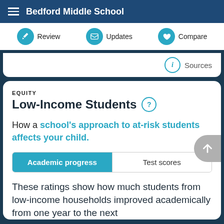Bedford Middle School
Review | Updates | Compare
Sources
EQUITY
Low-Income Students
How a school's approach to at-risk students affects your child.
Academic progress | Test scores
These ratings show how much students from low-income households improved academically from one year to the next